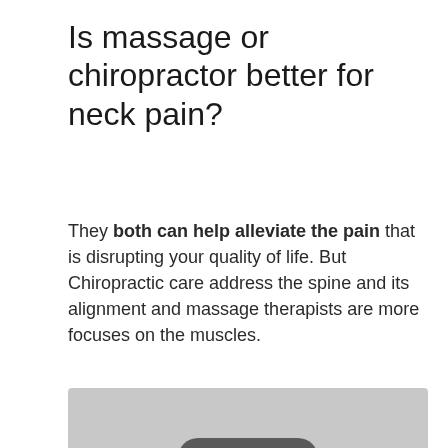Is massage or chiropractor better for neck pain?
They both can help alleviate the pain that is disrupting your quality of life. But Chiropractic care address the spine and its alignment and massage therapists are more focuses on the muscles.
[Figure (other): Embedded YouTube video player thumbnail showing a gray background with a YouTube play button icon (red rounded rectangle with white triangle) in the center.]